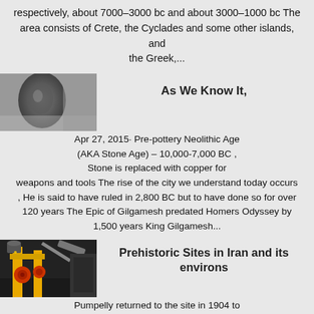respectively, about 7000–3000 bc and about 3000–1000 bc The area consists of Crete, the Cyclades and some other islands, and the Greek,...
[Figure (photo): A blurred close-up photo of a dark rounded stone or metallic object]
As We Know It,
Apr 27, 2015· Pre-pottery Neolithic Age (AKA Stone Age) – 10,000-7,000 BC , Stone is replaced with copper for weapons and tools The rise of the city we understand today occurs , He is said to have ruled in 2,800 BC but to have done so for over 120 years The Epic of Gilgamesh predated Homers Odyssey by 1,500 years King Gilgamesh...
[Figure (photo): An industrial drilling or excavation machine with yellow and orange metal parts, red wheels/gears, working outdoors]
Prehistoric Sites in Iran and its environs
Pumpelly returned to the site in 1904 to start excavations along the Russian trench using sophisticated methods - methods in stark contrast with the plundering dig of the Russians , the transition age between